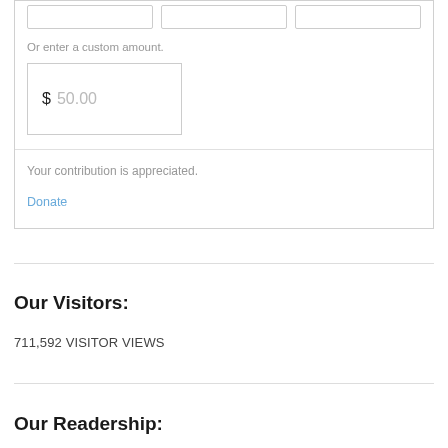Or enter a custom amount.
$ 50.00
Your contribution is appreciated.
Donate
Our Visitors:
711,592 VISITOR VIEWS
Our Readership: